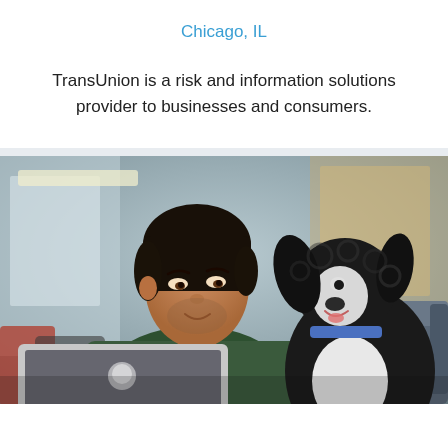Chicago, IL
TransUnion is a risk and information solutions provider to businesses and consumers.
[Figure (photo): A man in a dark green sweater sitting with a black and white dog on his lap, both near an open Apple MacBook laptop in an office setting.]